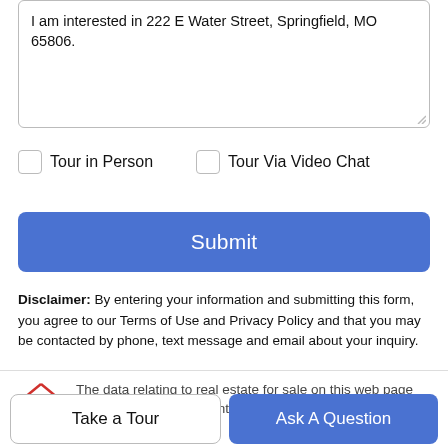I am interested in 222 E Water Street, Springfield, MO 65806.
Tour in Person
Tour Via Video Chat
Submit
Disclaimer: By entering your information and submitting this form, you agree to our Terms of Use and Privacy Policy and that you may be contacted by phone, text message and email about your inquiry.
The data relating to real estate for sale on this web page comes in part from the Internet Data Exchange (IDX) of the
Take a Tour
Ask A Question